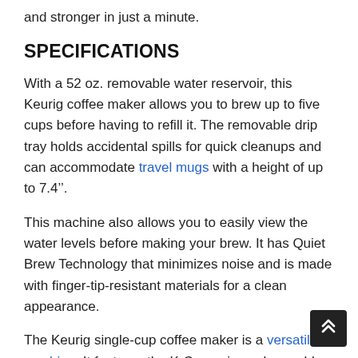and stronger in just a minute.
SPECIFICATIONS
With a 52 oz. removable water reservoir, this Keurig coffee maker allows you to brew up to five cups before having to refill it. The removable drip tray holds accidental spills for quick cleanups and can accommodate travel mugs with a height of up to 7.4’’.
This machine also allows you to easily view the water levels before making your brew. It has Quiet Brew Technology that minimizes noise and is made with finger-tip-resistant materials for a clean appearance.
The Keurig single-cup coffee maker is a versatile machine. It features the K-Cup universal reusable coffee filter that allows you to choose between...